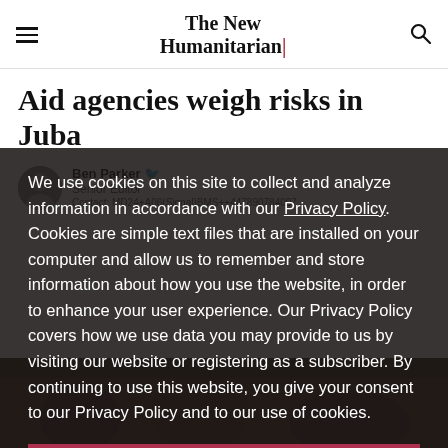The New Humanitarian
Aid agencies weigh risks in Juba
Ben Parker  Senior Editor  Contact: MD24+A06(Signal)BMS+447890784007
We use cookies on this site to collect and analyze information in accordance with our Privacy Policy. Cookies are simple text files that are installed on your computer and allow us to remember and store information about how you use the website, in order to enhance your user experience. Our Privacy Policy covers how we use data you may provide to us by visiting our website or registering as a subscriber. By continuing to use this website, you give your consent to our Privacy Policy and to our use of cookies.
OK, I agree
[Figure (photo): Dark background photo of people, partially visible at bottom of page]